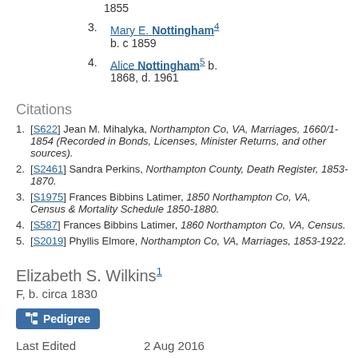1855
3. Mary E. Nottingham4 b. c 1859
4. Alice Nottingham5 b. 1868, d. 1961
Citations
1. [S622] Jean M. Mihalyka, Northampton Co, VA, Marriages, 1660/1-1854 (Recorded in Bonds, Licenses, Minister Returns, and other sources).
2. [S2461] Sandra Perkins, Northampton County, Death Register, 1853-1870.
3. [S1975] Frances Bibbins Latimer, 1850 Northampton Co, VA, Census & Mortality Schedule 1850-1880.
4. [S587] Frances Bibbins Latimer, 1860 Northampton Co, VA, Census.
5. [S2019] Phyllis Elmore, Northampton Co, VA, Marriages, 1853-1922.
Elizabeth S. Wilkins1
F, b. circa 1830
Pedigree
Last Edited   2 Aug 2016